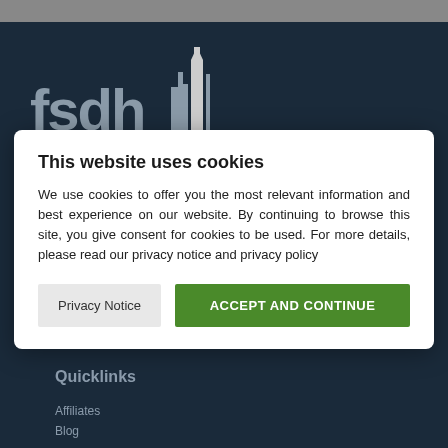[Figure (logo): FSDH logo with building/skyline icon on dark navy background]
This website uses cookies
We use cookies to offer you the most relevant information and best experience on our website. By continuing to browse this site, you give consent for cookies to be used. For more details, please read our privacy notice and privacy policy
Privacy Notice
ACCEPT AND CONTINUE
Quicklinks
Affiliates
Blog